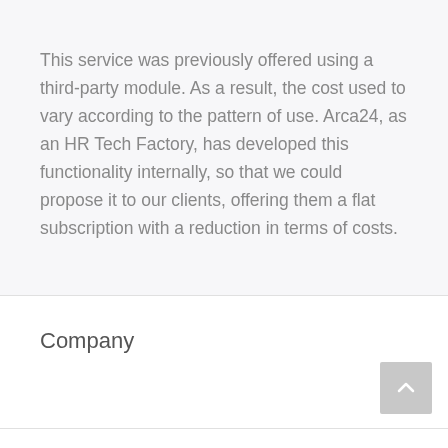This service was previously offered using a third-party module. As a result, the cost used to vary according to the pattern of use. Arca24, as an HR Tech Factory, has developed this functionality internally, so that we could propose it to our clients, offering them a flat subscription with a reduction in terms of costs.
Company